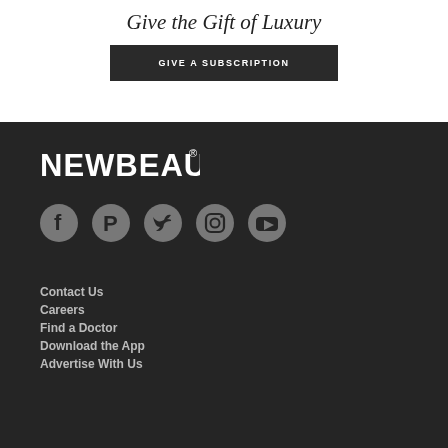Give the Gift of Luxury
GIVE A SUBSCRIPTION
[Figure (logo): NEWBEAUTY® logo in white bold text on dark background]
[Figure (illustration): Social media icons: Facebook, Pinterest, Twitter, Instagram, YouTube — circular gray icons]
Contact Us
Careers
Find a Doctor
Download the App
Advertise With Us